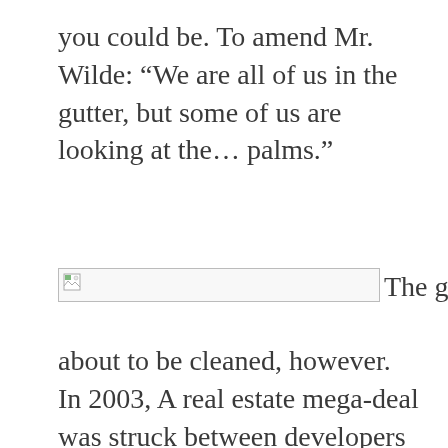you could be.  To amend Mr. Wilde: “We are all of us in the gutter, but some of us are looking at the… palms.”
[Figure (photo): Broken/missing image placeholder with a small image icon on the left, followed by the text 'The gutters are']
about to be cleaned, however.  In 2003, A real estate mega-deal was struck between developers and the county, and gentrification is about to be thrown into